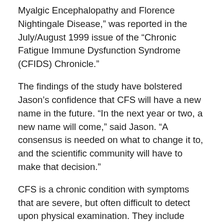Myalgic Encephalopathy and Florence Nightingale Disease," was reported in the July/August 1999 issue of the "Chronic Fatigue Immune Dysfunction Syndrome (CFIDS) Chronicle."
The findings of the study have bolstered Jason's confidence that CFS will have a new name in the future. "In the next year or two, a new name will come," said Jason. "A consensus is needed on what to change it to, and the scientific community will have to make that decision."
CFS is a chronic condition with symptoms that are severe, but often difficult to detect upon physical examination. They include fatigue, headaches and insomnia. For years the condition went un- or misdiagnosed because physicians weren't able to differentiate between common fatigue and CFS.